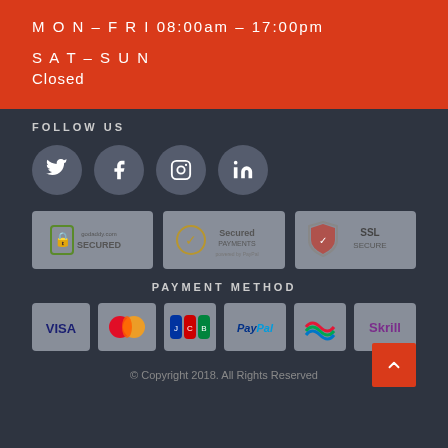M O N – F R I 08:00am – 17:00pm
S A T – S U N
Closed
FOLLOW US
[Figure (infographic): Social media icons: Twitter, Facebook, Instagram, LinkedIn in gray circles]
[Figure (infographic): Three security badges: GoDaddy.com Secured, Secured Payments powered by PayPal, SSL Secure]
PAYMENT METHOD
[Figure (infographic): Payment method logos: Visa, MasterCard, JCB, PayPal, (unknown), Skrill]
© Copyright 2018. All Rights Reserved